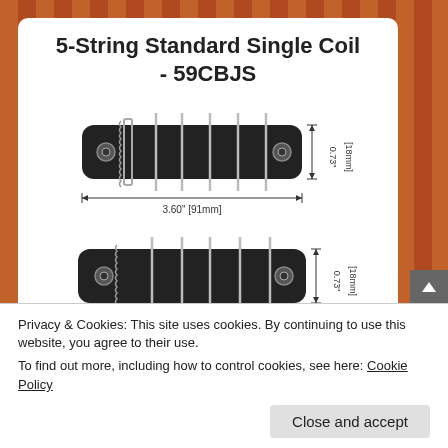5-String Standard Single Coil - 59CBJS
[Figure (engineering-diagram): Top-view engineering schematic of a 5-string single coil bass guitar pickup showing two diagrams: top diagram with dimensions 3.60" [91mm] width and 0.73" [18mm] height; bottom diagram with dimensions 3.73" [95mm] width and 0.73" [18mm] height. Each diagram shows a black rectangular pickup body with mounting screws and string slots.]
Privacy & Cookies: This site uses cookies. By continuing to use this website, you agree to their use.
To find out more, including how to control cookies, see here: Cookie Policy